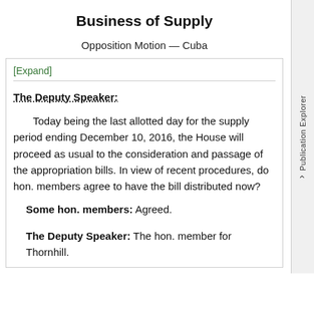Business of Supply
Opposition Motion — Cuba
[Expand]
The Deputy Speaker:
Today being the last allotted day for the supply period ending December 10, 2016, the House will proceed as usual to the consideration and passage of the appropriation bills. In view of recent procedures, do hon. members agree to have the bill distributed now?
Some hon. members: Agreed.
The Deputy Speaker: The hon. member for Thornhill.